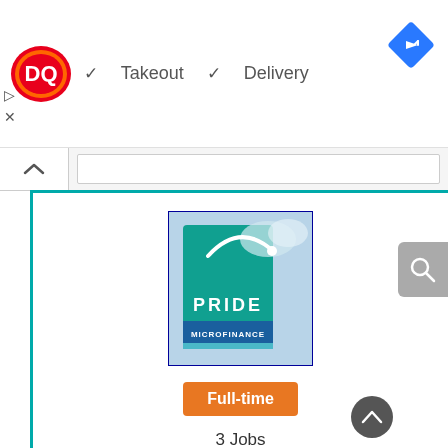[Figure (screenshot): DQ (Dairy Queen) logo in red and orange oval with white DQ text]
✓ Takeout  ✓ Delivery
[Figure (logo): Blue diamond navigation/directions icon with right-pointing arrow]
[Figure (logo): Pride Microfinance Limited (MDI) company logo — teal/green banner with person figure and clouds, text reads PRIDE MICROFINANCE]
Full-time
3 Jobs
Service Desk Officers Job at Pride Microfinance Limited (MDI) - Career Opportunity in Uganda